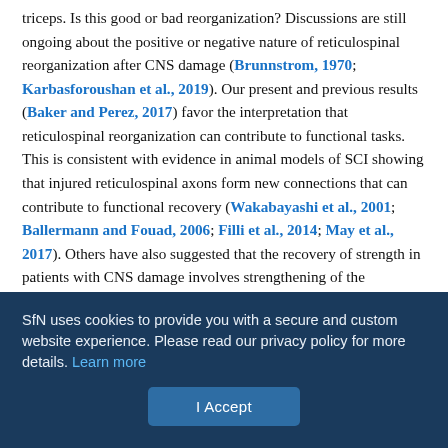triceps. Is this good or bad reorganization? Discussions are still ongoing about the positive or negative nature of reticulospinal reorganization after CNS damage (Brunnstrom, 1970; Karbasforoushan et al., 2019). Our present and previous results (Baker and Perez, 2017) favor the interpretation that reticulospinal reorganization can contribute to functional tasks. This is consistent with evidence in animal models of SCI showing that injured reticulospinal axons form new connections that can contribute to functional recovery (Wakabayashi et al., 2001; Ballermann and Fouad, 2006; Filli et al., 2014; May et al., 2017). Others have also suggested that the recovery of strength in patients with CNS damage involves strengthening of the reticulospinal pathway (Xu et al., 2017; Choudhury et al., 2019). Therapeutically, increased engagement of
SfN uses cookies to provide you with a secure and custom website experience. Please read our privacy policy for more details. Learn more